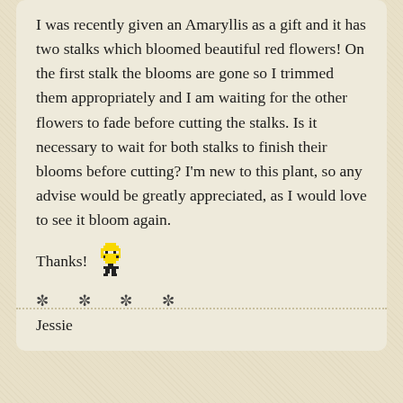I was recently given an Amaryllis as a gift and it has two stalks which bloomed beautiful red flowers! On the first stalk the blooms are gone so I trimmed them appropriately and I am waiting for the other flowers to fade before cutting the stalks. Is it necessary to wait for both stalks to finish their blooms before cutting? I'm new to this plant, so any advise would be greatly appreciated, as I would love to see it bloom again.
Thanks! [smiley emoji]
* * * *
Jessie